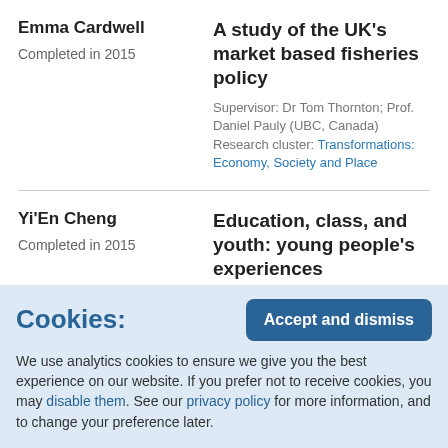Emma Cardwell
Completed in 2015
A study of the UK's market based fisheries policy
Supervisor: Dr Tom Thornton; Prof. Daniel Pauly (UBC, Canada) Research cluster: Transformations: Economy, Society and Place
Yi'En Cheng
Completed in 2015
Education, class, and youth: young people's experiences
Cookies:
We use analytics cookies to ensure we give you the best experience on our website. If you prefer not to receive cookies, you may disable them. See our privacy policy for more information, and to change your preference later.